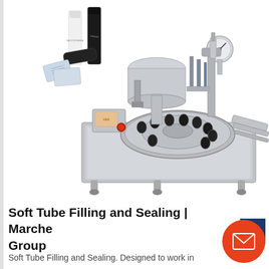[Figure (photo): A stainless steel soft tube filling and sealing machine with a rotary turntable, control panel with touchscreen and red emergency button, filling and sealing heads, pressure gauge, and a conveyor output rail. In the upper-left corner are sample products: white and black cosmetic tubes and small foil sachets.]
Soft Tube Filling and Sealing | Marche Group
Soft Tube Filling and Sealing. Designed to work in